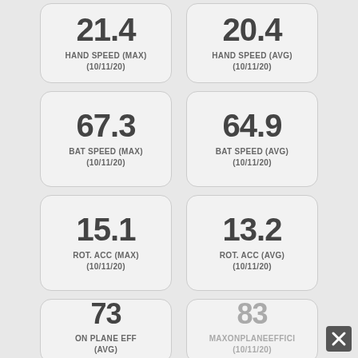21.4 HAND SPEED (MAX) (10/11/20)
20.4 HAND SPEED (AVG) (10/11/20)
67.3 BAT SPEED (MAX) (10/11/20)
64.9 BAT SPEED (AVG) (10/11/20)
15.1 ROT. ACC (MAX) (10/11/20)
13.2 ROT. ACC (AVG) (10/11/20)
73 ON PLANE EFF (AVG)
83 MAXONPLANEEFFICI (10/11/20)